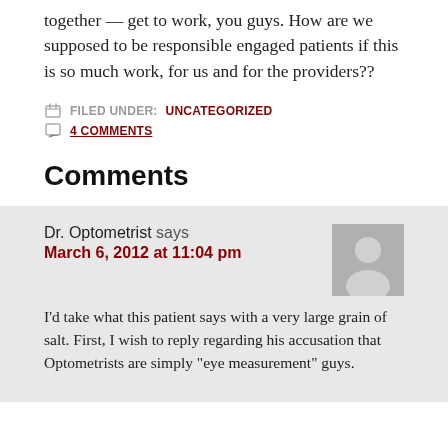together — get to work, you guys. How are we supposed to be responsible engaged patients if this is so much work, for us and for the providers??
FILED UNDER: UNCATEGORIZED
4 COMMENTS
Comments
Dr. Optometrist says
March 6, 2012 at 11:04 pm
I'd take what this patient says with a very large grain of salt. First, I wish to reply regarding his accusation that Optometrists are simply "eye measurement" guys.